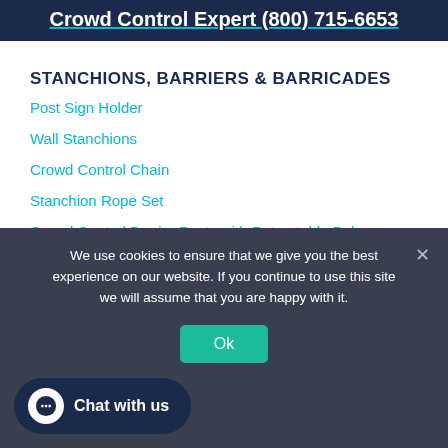Crowd Control Expert (800) 715-6653
STANCHIONS, BARRIERS & BARRICADES
Post Sign Holder
Wall Stanchions
Crowd Control Chain
Stanchion Rope Set
Crowd Control Barrier Posts with Retractable Belt
CROWD CONTROL PRODUCTS
We use cookies to ensure that we give you the best experience on our website. If you continue to use this site we will assume that you are happy with it.
Ok
Chat with us